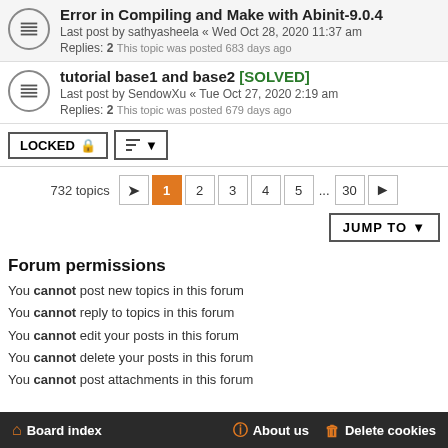Error in Compiling and Make with Abinit-9.0.4
Last post by sathyasheela « Wed Oct 28, 2020 11:37 am
Replies: 2  This topic was posted 683 days ago
tutorial base1 and base2 [SOLVED]
Last post by SendowXu « Tue Oct 27, 2020 2:19 am
Replies: 2  This topic was posted 679 days ago
LOCKED  732 topics  1 2 3 4 5 ... 30
JUMP TO
Forum permissions
You cannot post new topics in this forum
You cannot reply to topics in this forum
You cannot edit your posts in this forum
You cannot delete your posts in this forum
You cannot post attachments in this forum
Board index   About us   Delete cookies